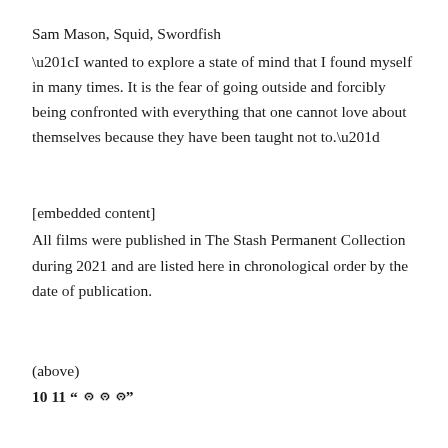Sam Mason, Squid, Swordfish
“I wanted to explore a state of mind that I found myself in many times. It is the fear of going outside and forcibly being confronted with everything that one cannot love about themselves because they have been taught not to.”
[embedded content]
All films were published in The Stash Permanent Collection during 2021 and are listed here in chronological order by the date of publication.
(above)
10 11 “ППП”